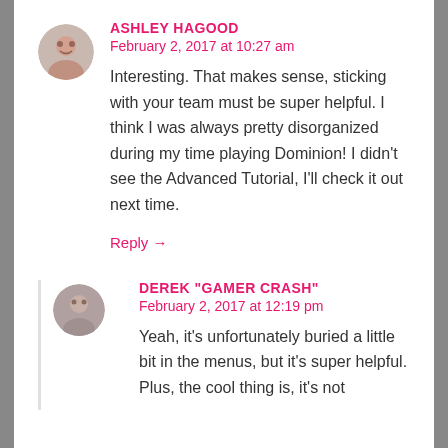ASHLEY HAGOOD
February 2, 2017 at 10:27 am
Interesting. That makes sense, sticking with your team must be super helpful. I think I was always pretty disorganized during my time playing Dominion! I didn't see the Advanced Tutorial, I'll check it out next time.
Reply →
DEREK "GAMER CRASH"
February 2, 2017 at 12:19 pm
Yeah, it's unfortunately buried a little bit in the menus, but it's super helpful. Plus, the cool thing is, it's not